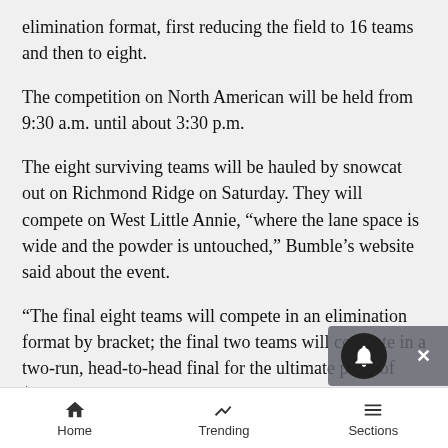elimination format, first reducing the field to 16 teams and then to eight.
The competition on North American will be held from 9:30 a.m. until about 3:30 p.m.
The eight surviving teams will be hauled by snowcat out on Richmond Ridge on Saturday. They will compete on West Little Annie, “where the lane space is wide and the powder is untouched,” Bumble’s website said about the event.
“The final eight teams will compete in an elimination format by bracket; the final two teams will compete in a two-run, head-to-head final for the ultimate prize of $10,000,” the website said.
The teams will be judged on synchronicity, dynamic
Home   Trending   Sections